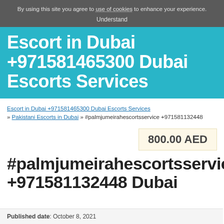By using this site you agree to use of cookies to enhance your experience. Understand
Escort in Dubai +971581465300 Dubai Escorts Services
Escort in Dubai +971581465300 Dubai Escorts Services » Pakistani Escorts in Dubai » #palmjumeirahescortsservice +971581132448
800.00 AED
#palmjumeirahescortsservice +971581132448 Dubai
Published date: October 8, 2021